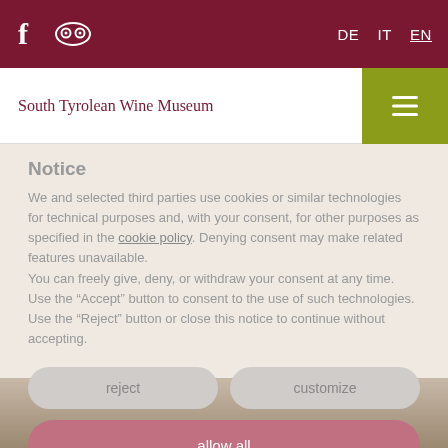f [tripadvisor icon]   DE  IT  EN
South Tyrolean Wine Museum
Notice
We and selected third parties use cookies or similar technologies for technical purposes and, with your consent, for other purposes as specified in the cookie policy. Denying consent may make related features unavailable.
You can freely give, deny, or withdraw your consent at any time.
Use the “Accept” button to consent to the use of such technologies. Use the “Reject” button or close this notice to continue without accepting.
reject
customize
allow all